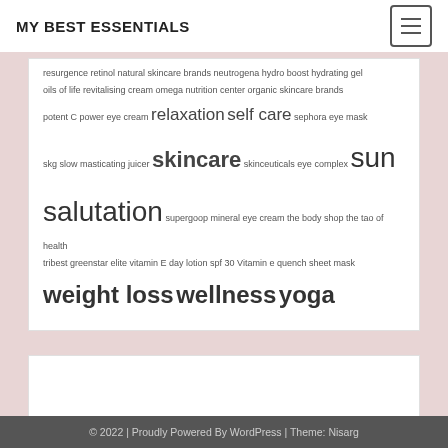MY BEST ESSENTIALS
resurgence retinol natural skincare brands neutrogena hydro boost hydrating gel oils of life revitalising cream omega nutrition center organic skincare brands potent C power eye cream relaxation self care sephora eye mask skg slow masticating juicer skincare skinceuticals eye complex sun salutation supergoop mineral eye cream the body shop the tao of health tribest greenstar elite vitamin E day lotion spf 30 Vitamin e quench sheet mask weight loss wellness yoga
[Figure (other): Advertisement placeholder box]
© 2022 | Proudly Powered By WordPress | Theme: Nisarg